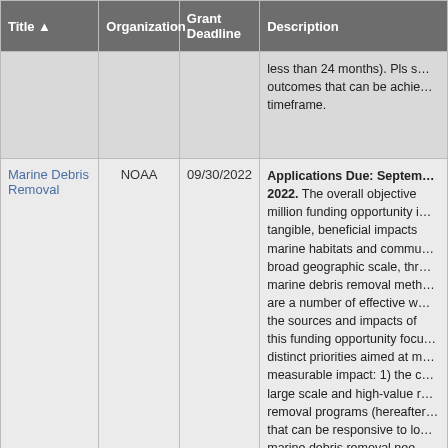| Title ▲ | Organization | Grant Deadline | Description |
| --- | --- | --- | --- |
|  |  |  | less than 24 months). Pls s… outcomes that can be achie… timeframe. |
| Marine Debris Removal | NOAA | 09/30/2022 | Applications Due: September 2022. The overall objective … million funding opportunity i… tangible, beneficial impacts … marine habitats and commu… broad geographic scale, thr… marine debris removal meth… are a number of effective w… the sources and impacts of … this funding opportunity foc… distinct priorities aimed at m… measurable impact: 1) the c… large scale and high-value r… removal programs (hereafter… that can be responsive to lo… marine debris removal nee… on large marine debris; and… implementation of projects t… |